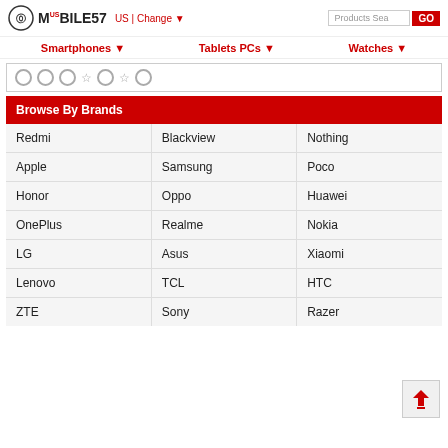MOBILE57 US | Change ▼ Products Search GO
Smartphones ▼   Tablets PCs ▼   Watches ▼
[Figure (other): Row of radio button and star icon controls]
Browse By Brands
| Redmi | Blackview | Nothing |
| Apple | Samsung | Poco |
| Honor | Oppo | Huawei |
| OnePlus | Realme | Nokia |
| LG | Asus | Xiaomi |
| Lenovo | TCL | HTC |
| ZTE | Sony | Razer |